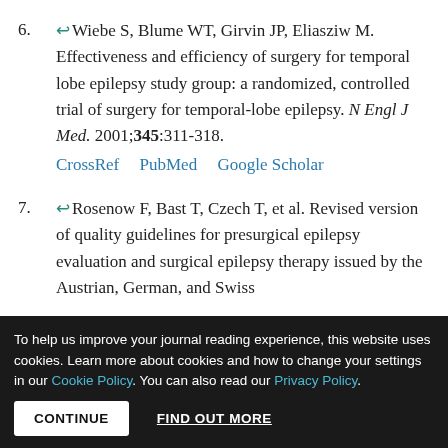6. ↩ Wiebe S, Blume WT, Girvin JP, Eliasziw M. Effectiveness and efficiency of surgery for temporal lobe epilepsy study group: a randomized, controlled trial of surgery for temporal-lobe epilepsy. N Engl J Med. 2001;345:311-318. CrossRef PubMed Google Scholar
7. ↩ Rosenow F, Bast T, Czech T, et al. Revised version of quality guidelines for presurgical epilepsy evaluation and surgical epilepsy therapy issued by the Austrian, German, and Swiss
To help us improve your journal reading experience, this website uses cookies. Learn more about cookies and how to change your settings in our Cookie Policy. You can also read our Privacy Policy.